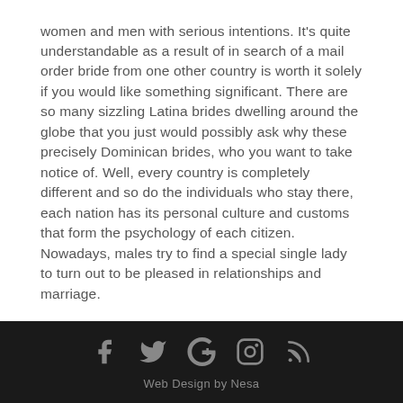women and men with serious intentions. It's quite understandable as a result of in search of a mail order bride from one other country is worth it solely if you would like something significant. There are so many sizzling Latina brides dwelling around the globe that you just would possibly ask why these precisely Dominican brides, who you want to take notice of. Well, every country is completely different and so do the individuals who stay there, each nation has its personal culture and customs that form the psychology of each citizen. Nowadays, males try to find a special single lady to turn out to be pleased in relationships and marriage.
Web Design by Nesa